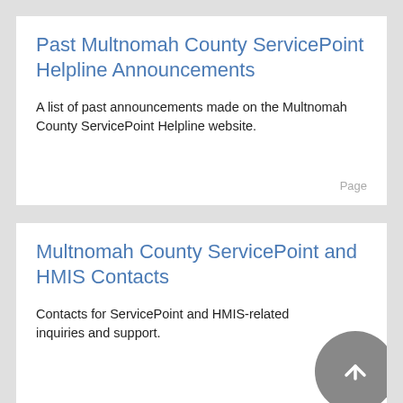Past Multnomah County ServicePoint Helpline Announcements
A list of past announcements made on the Multnomah County ServicePoint Helpline website.
Page
Multnomah County ServicePoint and HMIS Contacts
Contacts for ServicePoint and HMIS-related inquiries and support.